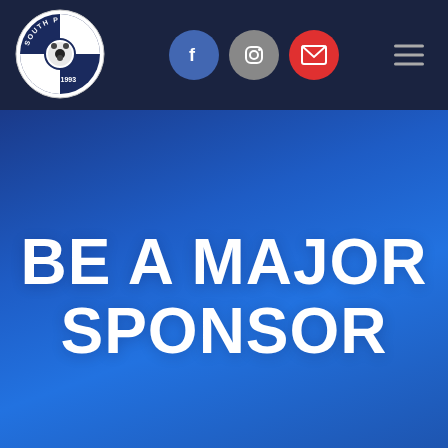[Figure (logo): South Perth United FC circular club crest logo with football/soccer ball and blue quarters, EST. 1993]
[Figure (infographic): Navigation bar with Facebook, Instagram, and email social media icon buttons, and hamburger menu icon on dark navy background]
BE A MAJOR SPONSOR